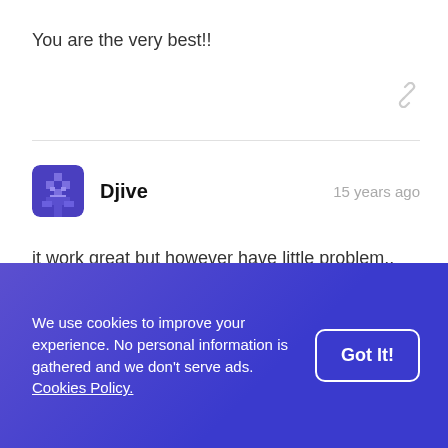You are the very best!!
Djive · 15 years ago
it work great but however have little problem..
when i click on any link.. nothing happens..
i have disabled all others extensions.. but still when
We use cookies to improve your experience. No personal information is gathered and we don't serve ads. Cookies Policy.